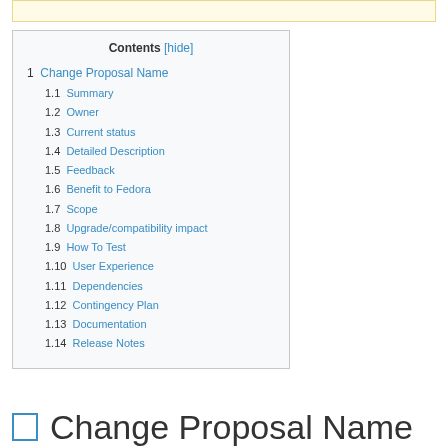| 1 | Change Proposal Name |
| 1.1 | Summary |
| 1.2 | Owner |
| 1.3 | Current status |
| 1.4 | Detailed Description |
| 1.5 | Feedback |
| 1.6 | Benefit to Fedora |
| 1.7 | Scope |
| 1.8 | Upgrade/compatibility impact |
| 1.9 | How To Test |
| 1.10 | User Experience |
| 1.11 | Dependencies |
| 1.12 | Contingency Plan |
| 1.13 | Documentation |
| 1.14 | Release Notes |
Change Proposal Name